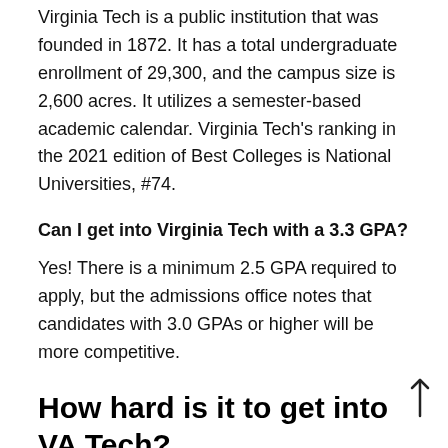Virginia Tech is a public institution that was founded in 1872. It has a total undergraduate enrollment of 29,300, and the campus size is 2,600 acres. It utilizes a semester-based academic calendar. Virginia Tech's ranking in the 2021 edition of Best Colleges is National Universities, #74.
Can I get into Virginia Tech with a 3.3 GPA?
Yes! There is a minimum 2.5 GPA required to apply, but the admissions office notes that candidates with 3.0 GPAs or higher will be more competitive.
How hard is it to get into VA Tech?
The school has a 70% acceptance rate ranking it #18 in Virginia for lowest rate of acceptance. Last year, 22,393 out of 31,974 applicants were admitted making Virginia